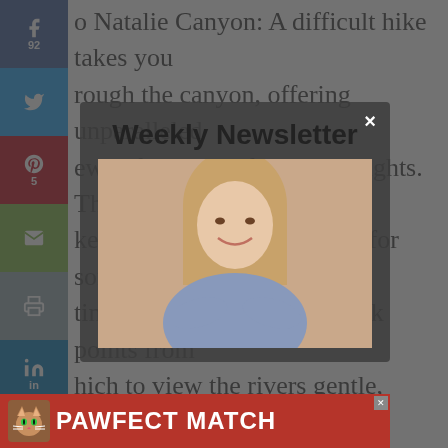Natalie Canyon: A difficult hike takes you through the canyon, offering unparalleled views of the earth from the heights. The hike takes you along the river for some time, ultimately providing many rock points from which to view the rivers gentle, rock-bottomed pools. The hike ends at Nas each. Here, there are big waves and great, challenging surfing. The island is famous for slow service, so be prepared. However, stores stay open into the wee mornings, and the town of Rahes has a bustling nightlife. Ikaria was named after Icarus, who is said to have fallen to his death nearby.
Weekly Newsletter
[Figure (photo): Woman smiling, partially obscured by the newsletter modal overlay]
[Figure (illustration): PAWFECT MATCH advertisement banner with cat illustration at the bottom]